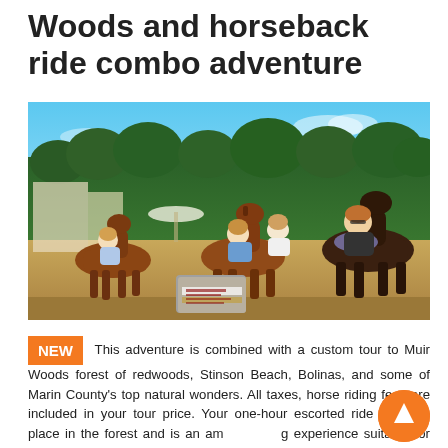Woods and horseback ride combo adventure
[Figure (photo): Group of people on horseback in a sunny outdoor setting with trees and blue sky in background]
NEW  This adventure is combined with a custom tour to Muir Woods forest of redwoods, Stinson Beach, Bolinas, and some of Marin County's top natural wonders. All taxes, horse riding fees are included in your tour price. Your one-hour escorted ride will take place in the forest and is an amazing experience suitable for the whole family— even for first-time riders or beginners! No prior horseback riding experience is